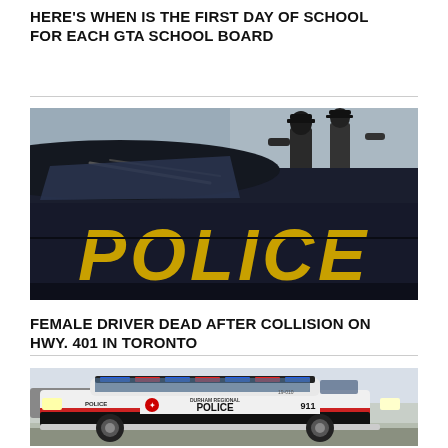HERE’S WHEN IS THE FIRST DAY OF SCHOOL FOR EACH GTA SCHOOL BOARD
[Figure (photo): Close-up of a dark police cruiser door with large gold 'POLICE' lettering, two officers visible in background]
FEMALE DRIVER DEAD AFTER COLLISION ON HWY. 401 IN TORONTO
[Figure (photo): Durham Regional Police SUV (Ford Explorer) with blue/red lights, marked with '911' and Durham Regional Police livery]